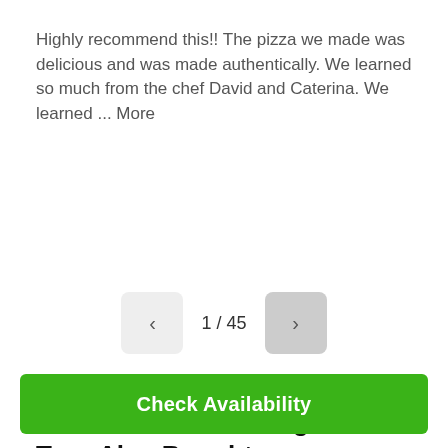Highly recommend this!! The pizza we made was delicious and was made authentically. We learned so much from the chef David and Caterina. We learned ... More
1 / 45
Customers Who Bought This Tour Also Bought
[Figure (photo): Two product/tour cards side by side, each with a 'Likely to Sell Out' badge on a stone-textured and sky-gradient image respectively]
Check Availability